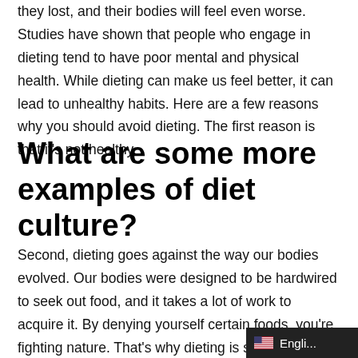they lost, and their bodies will feel even worse. Studies have shown that people who engage in dieting tend to have poor mental and physical health. While dieting can make us feel better, it can lead to unhealthy habits. Here are a few reasons why you should avoid dieting. The first reason is that it's not healthy.
What are some more examples of diet culture?
Second, dieting goes against the way our bodies evolved. Our bodies were designed to be hardwired to seek out food, and it takes a lot of work to acquire it. By denying yourself certain foods, you're fighting nature. That's why dieting is so dangerous. And why is it so bad? There's plenty of evidence that diets are harmful to your health. If you're looking for answers to the questions above, you can begin you